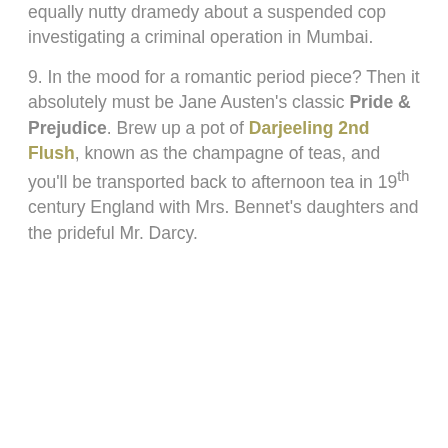equally nutty dramedy about a suspended cop investigating a criminal operation in Mumbai.
9. In the mood for a romantic period piece? Then it absolutely must be Jane Austen's classic Pride & Prejudice. Brew up a pot of Darjeeling 2nd Flush, known as the champagne of teas, and you'll be transported back to afternoon tea in 19th century England with Mrs. Bennet's daughters and the prideful Mr. Darcy.